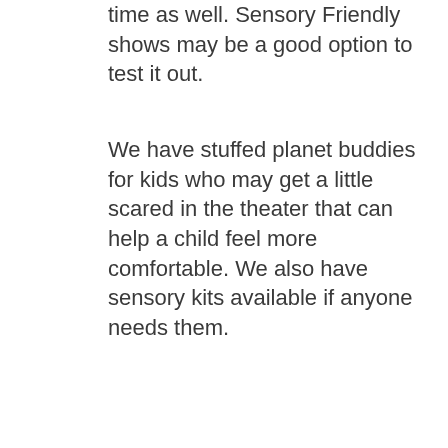time as well. Sensory Friendly shows may be a good option to test it out.
We have stuffed planet buddies for kids who may get a little scared in the theater that can help a child feel more comfortable. We also have sensory kits available if anyone needs them.
What do you love about being located in the Greater Lansing area?
We are a destination which brings visitors from all